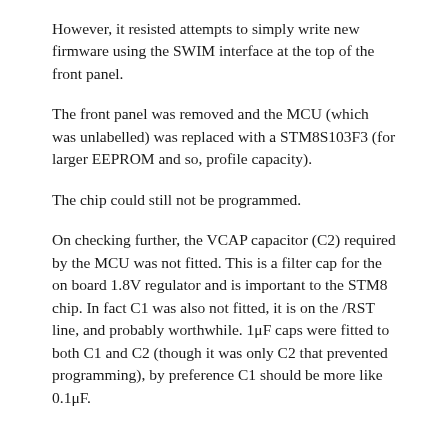However, it resisted attempts to simply write new firmware using the SWIM interface at the top of the front panel.
The front panel was removed and the MCU (which was unlabelled) was replaced with a STM8S103F3 (for larger EEPROM and so, profile capacity).
The chip could still not be programmed.
On checking further, the VCAP capacitor (C2) required by the MCU was not fitted. This is a filter cap for the on board 1.8V regulator and is important to the STM8 chip. In fact C1 was also not fitted, it is on the /RST line, and probably worthwhile. 1μF caps were fitted to both C1 and C2 (though it was only C2 that prevented programming), by preference C1 should be more like 0.1μF.